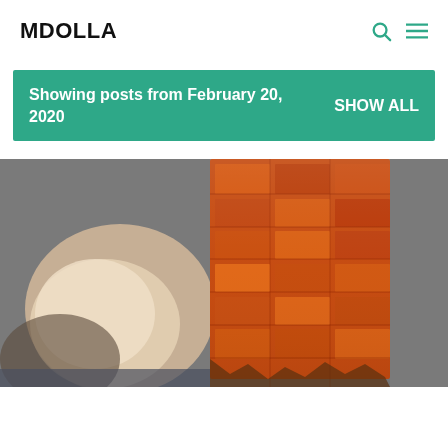MDOLLA
Showing posts from February 20, 2020   SHOW ALL
[Figure (photo): Close-up photo of an orange/rust-colored fragmented sculptural or natural rock structure against a grey background, with a light beige shape on the left side.]